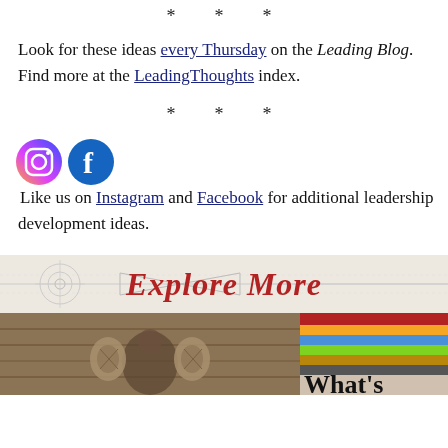* * *
Look for these ideas every Thursday on the Leading Blog. Find more at the LeadingThoughts index.
* * *
Like us on Instagram and Facebook for additional leadership development ideas.
[Figure (infographic): Explore More banner with decorative background and red italic text]
[Figure (photo): Sepia tone photo of a man with large ear-like apparatus, and a stack of books with 'What's' visible]